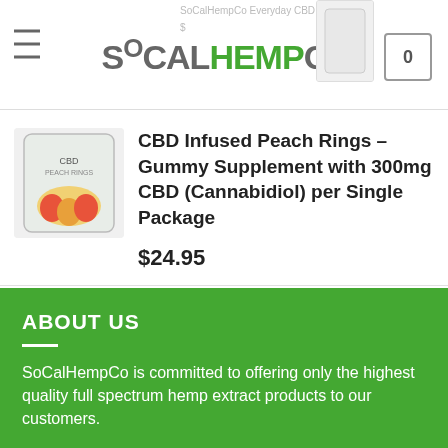SoCalHempCo Everyday CBD Wellness Kit — SoCalHEMPCo [cart: 0]
CBD Infused Peach Rings – Gummy Supplement with 300mg CBD (Cannabidiol) per Single Package
$24.95
CBD Infused Sour Gummy Bears – Gummy Supplement with 300mg CBD (Cannabidiol) per Single Package
$24.95
ABOUT US
SoCalHempCo is committed to offering only the highest quality full spectrum hemp extract products to our customers.